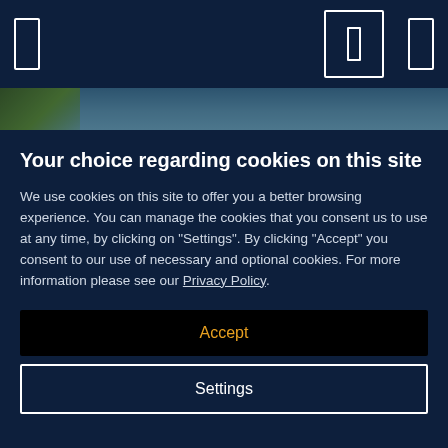[Figure (screenshot): Website navigation bar with dark navy background showing three icon elements: a tall thin rectangle outline on the left, a larger rectangle with a smaller inner rectangle in the center-right, and a tall thin rectangle on the far right.]
[Figure (photo): Partial background photo strip showing sky and green foliage at top left.]
Your choice regarding cookies on this site
We use cookies on this site to offer you a better browsing experience. You can manage the cookies that you consent us to use at any time, by clicking on "Settings". By clicking "Accept" you consent to our use of necessary and optional cookies. For more information please see our Privacy Policy.
Accept
Settings